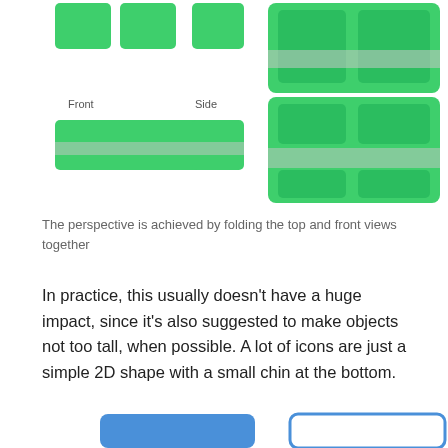[Figure (illustration): Illustration showing front, side, and perspective views of a green object with white horizontal band, demonstrating how top and front views fold together to create a perspective view]
The perspective is achieved by folding the top and front views together
In practice, this usually doesn't have a huge impact, since it's also suggested to make objects not too tall, when possible. A lot of icons are just a simple 2D shape with a small chin at the bottom.
That said, it can look very weird when you get the perspective wrong, e.g. by folding the layers from the top/back instead of the front, so it's important to keep this in mind.
[Figure (illustration): Bottom partial illustration showing blue shapes at the bottom of the page]